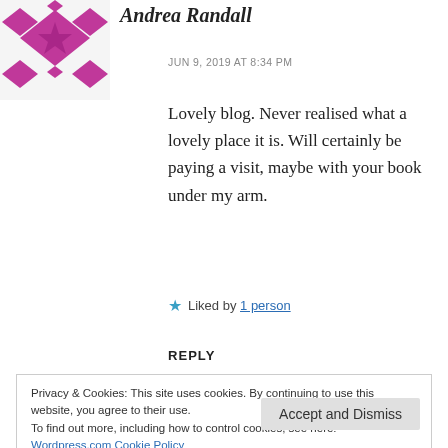[Figure (illustration): Purple/magenta diamond pattern avatar icon for user Andrea Randall]
Andrea Randall
JUN 9, 2019 AT 8:34 PM
Lovely blog. Never realised what a lovely place it is. Will certainly be paying a visit, maybe with your book under my arm.
Liked by 1 person
REPLY
Privacy & Cookies: This site uses cookies. By continuing to use this website, you agree to their use.
To find out more, including how to control cookies, see here:
Wordpress.com Cookie Policy
Accept and Dismiss